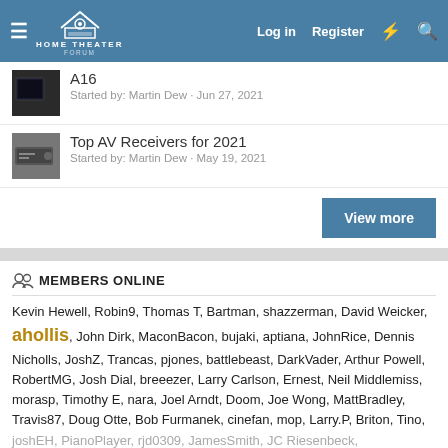Home Theater Forum — Log in | Register
A16 — Started by: Martin Dew · Jun 27, 2021
Top AV Receivers for 2021 — Started by: Martin Dew · May 19, 2021
View more
MEMBERS ONLINE
Kevin Hewell, Robin9, Thomas T, Bartman, shazzerman, David Weicker, ahollis, John Dirk, MaconBacon, bujaki, aptiana, JohnRice, Dennis Nicholls, JoshZ, Trancas, pjones, battlebeast, DarkVader, Arthur Powell, RobertMG, Josh Dial, breeezer, Larry Carlson, Ernest, Neil Middlemiss, morasp, Timothy E, nara, Joel Arndt, Doom, Joe Wong, MattBradley, Travis87, Doug Otte, Bob Furmanek, cinefan, mop, Larry.P, Briton, Tino, joshEH, PianoPlayer, rjd0309, JamesSmith, JC Riesenbeck, shoeshineboy, mark brown, SD_Brian, Powell&Pressburger, Worth and 9 more